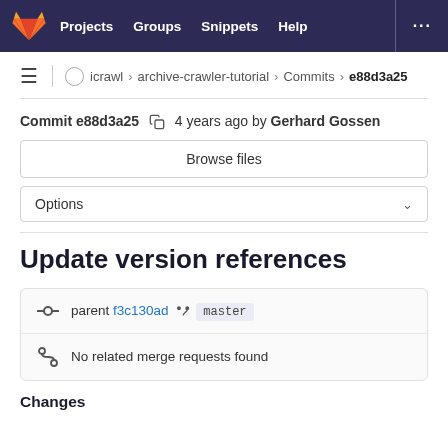GitLab navigation bar with Projects, Groups, Snippets, Help
icrawl › archive-crawler-tutorial › Commits › e88d3a25
Commit e88d3a25  4 years ago by Gerhard Gossen
Browse files
Options
Update version references
parent f3c130ad  master
No related merge requests found
Changes